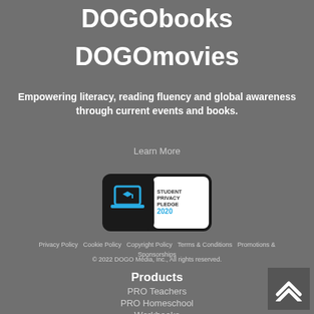DOGObooks
DOGOmovies
Empowering literacy, reading fluency and global awareness through current events and books.
Learn More
[Figure (logo): Student Privacy Pledge 2020 badge with laptop icon]
Privacy Policy  Cookie Policy  Copyright Policy  Terms & Conditions  Promotions & Sponsorships
© 2022 DOGO Media, Inc., All rights reserved.
Products
PRO Teachers
PRO Homeschool
Workbooks